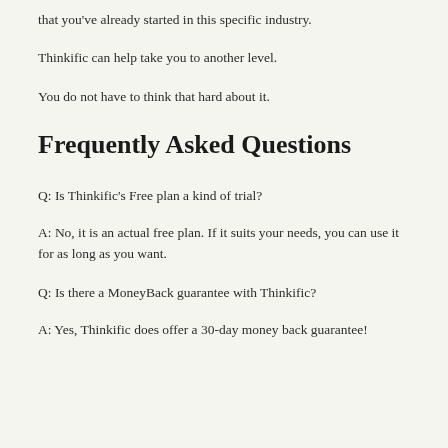that you've already started in this specific industry.
Thinkific can help take you to another level.
You do not have to think that hard about it.
Frequently Asked Questions
Q: Is Thinkific's Free plan a kind of trial?
A: No, it is an actual free plan. If it suits your needs, you can use it for as long as you want.
Q: Is there a MoneyBack guarantee with Thinkific?
A: Yes, Thinkific does offer a 30-day money back guarantee!